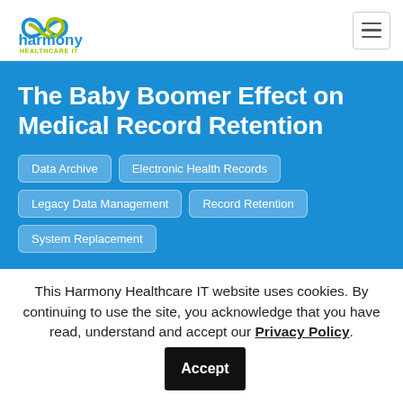[Figure (logo): Harmony Healthcare IT logo with abstract blue and green loop icon and blue/yellow text]
The Baby Boomer Effect on Medical Record Retention
Data Archive
Electronic Health Records
Legacy Data Management
Record Retention
System Replacement
This Harmony Healthcare IT website uses cookies. By continuing to use the site, you acknowledge that you have read, understand and accept our Privacy Policy. Accept